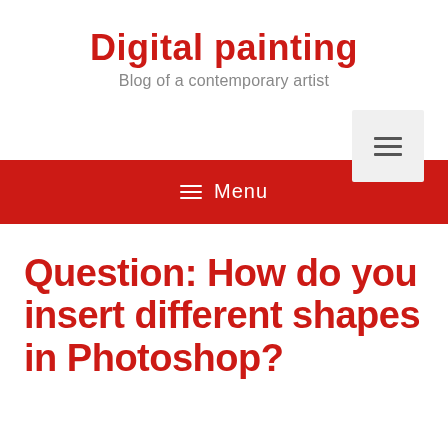Digital painting
Blog of a contemporary artist
[Figure (screenshot): Hamburger menu button icon with three horizontal lines on a light gray background]
≡ Menu
Question: How do you insert different shapes in Photoshop?